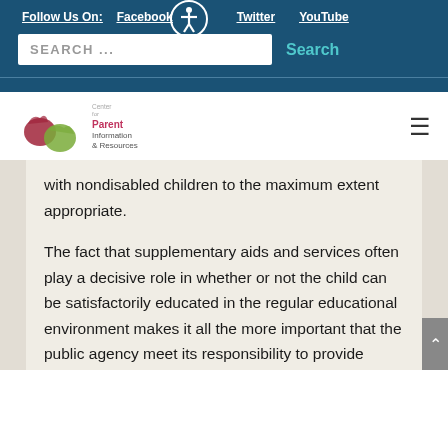Follow Us On:  Facebook  Twitter  YouTube
[Figure (logo): Center for Parent Information and Resources logo with two hands]
with nondisabled children to the maximum extent appropriate.
The fact that supplementary aids and services often play a decisive role in whether or not the child can be satisfactorily educated in the regular educational environment makes it all the more important that the public agency meet its responsibility to provide them. If the IEP team has determined that the child